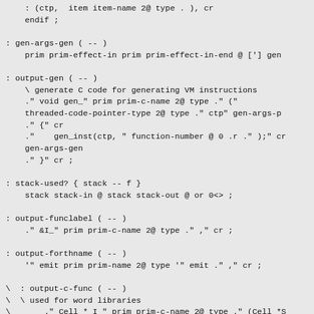: (ctp,  item item-name 2@ type . ), cr
    endif ;

: gen-args-gen ( -- )
    prim prim-effect-in prim prim-effect-in-end @ ['] gen

: output-gen ( -- )
    \ generate C code for generating VM instructions
    ." void gen_" prim prim-c-name 2@ type ." ("
    threaded-code-pointer-type 2@ type ." ctp" gen-args-p
    ." {" cr
    ."    gen_inst(ctp, " function-number @ 0 .r ." );" cr
    gen-args-gen
    ." }" cr ;

: stack-used? { stack -- f }
    stack stack-in @ stack stack-out @ or 0<> ;

: output-funclabel ( -- )
    ." &I_" prim prim-c-name 2@ type ." ," cr ;

: output-forthname ( -- )
    '" emit prim prim-name 2@ type '" emit ." ," cr ;

\  : output-c-func ( -- )
\  \ used for word libraries
\       ." Cell * I_" prim prim-c-name 2@ type ." (Cell *S
\       ."  ( " prim prim-stack-string 2@ type ."  ) */" c
\       ." /* " prim prim-doc 2@ type ."  */" cr
\       ." NAME(" quote prim prim-name 2@ type quote ." )'
\       } debugging